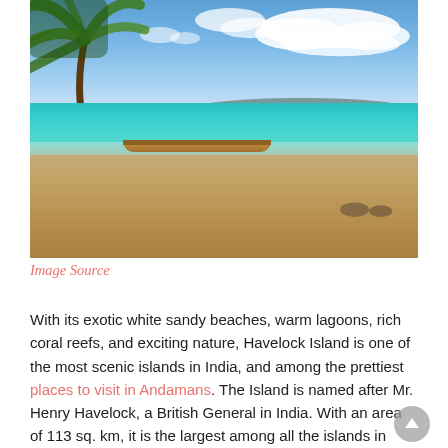[Figure (photo): Tropical beach scene with turquoise lagoon, white sandy shore, a wooden boat moored in the water, palm fronds hanging from the upper left, blue sky with white clouds, and a distant green island on the horizon. This is Havelock Island, Andaman.]
Image Source
With its exotic white sandy beaches, warm lagoons, rich coral reefs, and exciting nature, Havelock Island is one of the most scenic islands in India, and among the prettiest places to visit in Andamans. The Island is named after Mr. Henry Havelock, a British General in India. With an area of 113 sq. km, it is the largest among all the islands in Ritchie's Archipelago and is